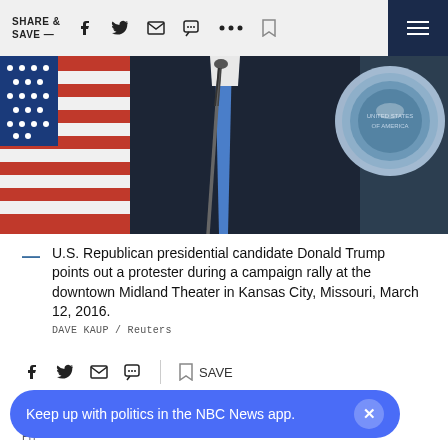SHARE & SAVE —
[Figure (photo): U.S. Republican presidential candidate Donald Trump at a campaign rally podium, American flag in background, presidential seal visible on right, microphone stand in front.]
U.S. Republican presidential candidate Donald Trump points out a protester during a campaign rally at the downtown Midland Theater in Kansas City, Missouri, March 12, 2016.
DAVE KAUP / Reuters
March 14, 2016, 11:23 PM UTC / Updated March 14, 2016, 11:23 PM
By
Keep up with politics in the NBC News app.